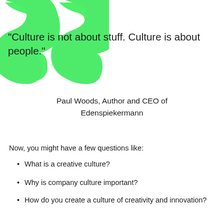[Figure (illustration): Large green decorative opening quotation marks in the upper-left corner of the page]
“Culture is not about stuff. Culture is about people.”
Paul Woods, Author and CEO of Edenspiekermann
Now, you might have a few questions like:
What is a creative culture?
Why is company culture important?
How do you create a culture of creativity and innovation?